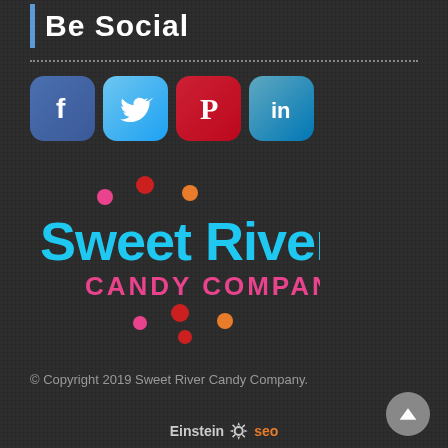Be Social
[Figure (logo): Social media icons: Facebook, Twitter, Pinterest, LinkedIn]
[Figure (logo): Sweet River Candy Company logo with colorful dots]
© Copyright 2019 Sweet River Candy Company.
[Figure (logo): Einstein SEO logo with gear icon]
[Figure (other): Scroll to top button (upward triangle arrow)]